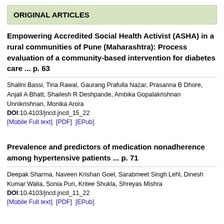ORIGINAL ARTICLES
Empowering Accredited Social Health Activist (ASHA) in a rural communities of Pune (Maharashtra): Process evaluation of a community-based intervention for diabetes care ... p. 63
Shalini Bassi, Tina Rawal, Gaurang Prafulla Nazar, Prasanna B Dhore, Anjali A Bhatt, Shailesh R Deshpande, Ambika Gopalakrishnan Unnikrishnan, Monika Arora
DOI:10.4103/jncd.jncd_15_22
[Mobile Full text]  [PDF]  [EPub]
Prevalence and predictors of medication nonadherence among hypertensive patients ... p. 71
Deepak Sharma, Naveen Krishan Goel, Sarabmeet Singh Lehl, Dinesh Kumar Walia, Sonia Puri, Kritee Shukla, Shreyas Mishra
DOI:10.4103/jncd.jncd_11_22
[Mobile Full text]  [PDF]  [EPub]